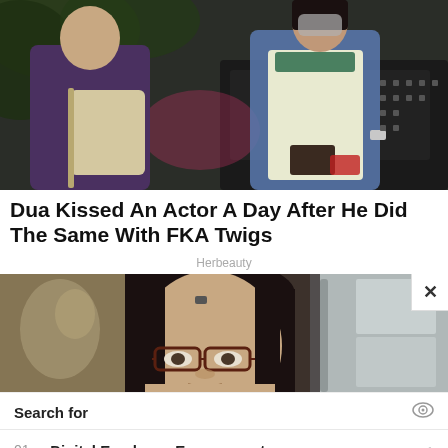[Figure (photo): Two people standing outside at night near a car, one wearing a dark purple sweater with a beige crossbody bag, the other in a green-trim white shirt with a blue jacket draped over shoulders.]
Dua Kissed An Actor A Day After He Did The Same With FKA Twigs
Herbeauty
[Figure (photo): A woman with dark hair and glasses looking at the camera, indoors near a kitchen/refrigerator setting.]
Search for
01.  Digital Employee Engagements
02.  Employees Engagement Assessment
Yahoo! Search | Sponsored